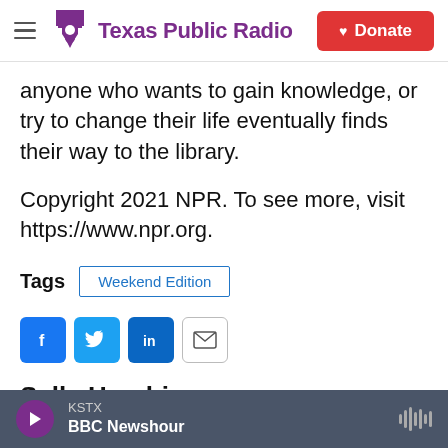Texas Public Radio | Donate
anyone who wants to gain knowledge, or try to change their life eventually finds their way to the library.
Copyright 2021 NPR. To see more, visit https://www.npr.org.
Tags  Weekend Edition
[Figure (other): Social sharing icons: Facebook, Twitter, LinkedIn, Email]
Sally Hershins
KSTX  BBC Newshour